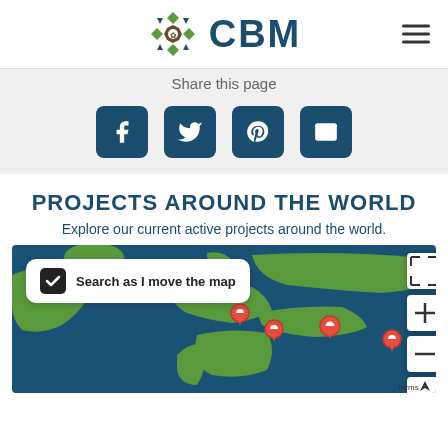CBM
Share this page
[Figure (screenshot): Social media share buttons: Facebook, Twitter, Pinterest, Email]
PROJECTS AROUND THE WORLD
Explore our current active projects around the world.
[Figure (map): Interactive world map showing current active CBM projects with red location pins over Europe and Middle East regions. Includes 'Search as I move the map' checkbox overlay and map controls (expand, zoom in, zoom out, navigate). 'Terms' label visible at bottom right.]